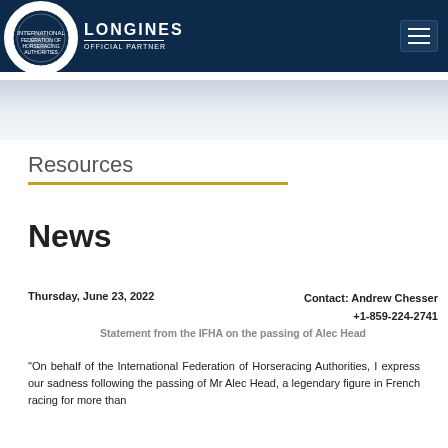LONGINES OFFICIAL PARTNER [logo] [hamburger menu]
[Figure (other): Light blue-grey gradient hero/banner area]
Resources
News
Thursday, June 23, 2022
Contact: Andrew Chesser +1-859-224-2741
Statement from the IFHA on the passing of Alec Head
“On behalf of the International Federation of Horseracing Authorities, I express our sadness following the passing of Mr Alec Head, a legendary figure in French racing for more than